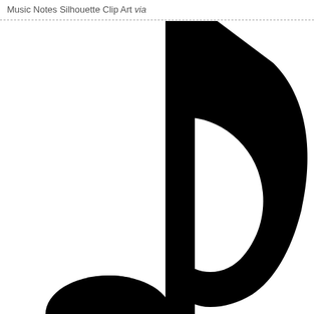Music Notes Silhouette Clip Art via
[Figure (illustration): A large black music note silhouette (eighth note / quaver) shown in close-up crop. The stem rises vertically from the bottom left, with the flag curving to the right at the top. A filled oval note head is partially visible at the bottom left corner. The image is cropped so the note fills most of the frame.]